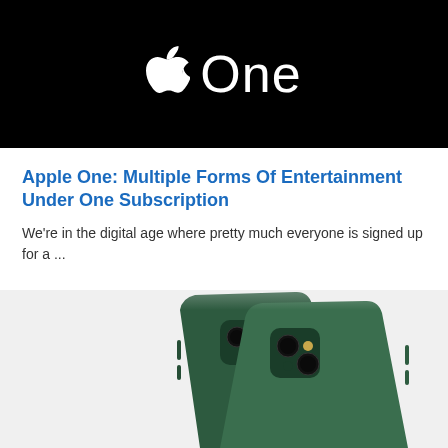[Figure (logo): Apple One logo on black background — Apple logo (white) followed by the word 'One' in white text]
Apple One: Multiple Forms Of Entertainment Under One Subscription
We're in the digital age where pretty much everyone is signed up for a ...
[Figure (photo): Two green iPhones (iPhone 13 in Alpine Green) photographed from the back, showing the camera systems, on a light grey background]